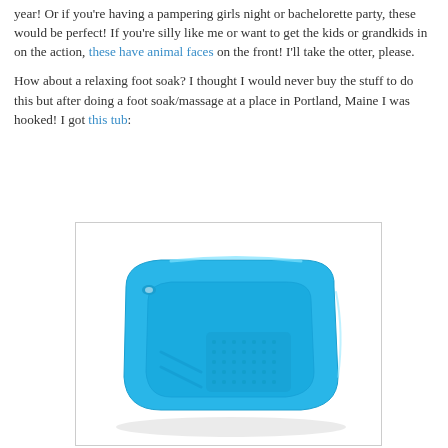year!  Or if you're having a pampering girls night or bachelorette party, these would be perfect!  If you're silly like me or want to get the kids or grandkids in on the action, these have animal faces on the front!  I'll take the otter, please.

How about a relaxing foot soak?  I thought I would never buy the stuff to do this but after doing a foot soak/massage at a place in Portland, Maine I was hooked!  I got this tub:
[Figure (photo): A light blue plastic foot soak tub with textured bottom surface and a small hole handle on one side, shown at an angle on a white background.]